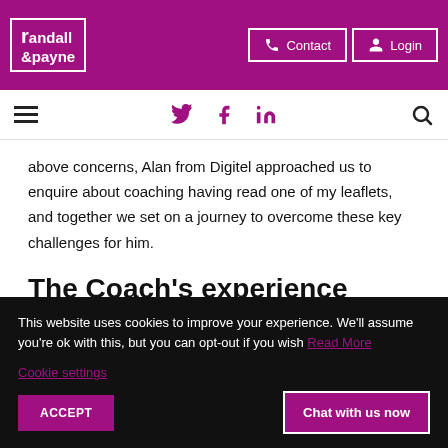randall & payne | Contact | Login
hamburger menu | twitter | facebook | linkedin | search
above concerns, Alan from Digitel approached us to enquire about coaching having read one of my leaflets, and together we set on a journey to overcome these key challenges for him.
The Coach's experience
Will Abbott, is Randall & Payne's resident trailblazer and head
This website uses cookies to improve your experience. We'll assume you're ok with this, but you can opt-out if you wish Read More
Cookie settings
ACCEPT
Chat with us now